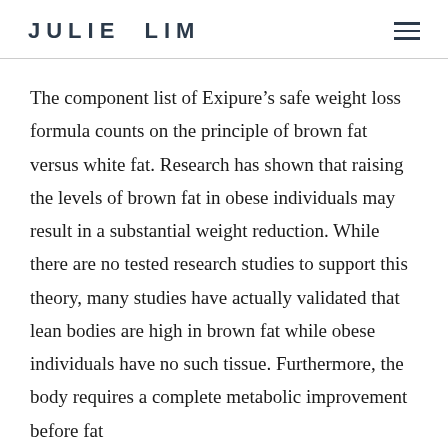JULIE LIM
The component list of Exipure’s safe weight loss formula counts on the principle of brown fat versus white fat. Research has shown that raising the levels of brown fat in obese individuals may result in a substantial weight reduction. While there are no tested research studies to support this theory, many studies have actually validated that lean bodies are high in brown fat while obese individuals have no such tissue. Furthermore, the body requires a complete metabolic improvement before fat